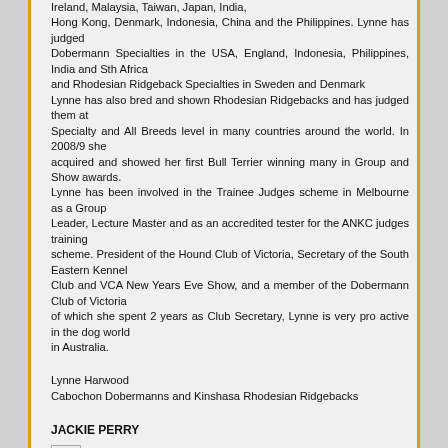Ireland, Malaysia, Taiwan, Japan, India, Hong Kong, Denmark, Indonesia, China and the Philippines. Lynne has judged Dobermann Specialties in the USA, England, Indonesia, Philippines, India and Sth Africa and Rhodesian Ridgeback Specialties in Sweden and Denmark Lynne has also bred and shown Rhodesian Ridgebacks and has judged them at Specialty and All Breeds level in many countries around the world. In 2008/9 she acquired and showed her first Bull Terrier winning many in Group and Show awards. Lynne has been involved in the Trainee Judges scheme in Melbourne as a Group Leader, Lecture Master and as an accredited tester for the ANKC judges training scheme. President of the Hound Club of Victoria, Secretary of the South Eastern Kennel Club and VCA New Years Eve Show, and a member of the Dobermann Club of Victoria of which she spent 2 years as Club Secretary, Lynne is very pro active in the dog world in Australia.
Lynne Harwood
Cabochon Dobermanns and Kinshasa Rhodesian Ridgebacks
JACKIE PERRY
[Figure (photo): Broken/missing image placeholder]